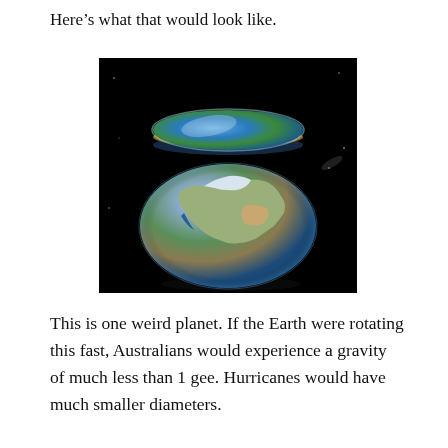Here’s what that would look like.
[Figure (illustration): Digital illustration showing two views of Earth: a flat disc-shaped Earth at the top (highly flattened due to extreme rotation, showing a blue ocean and green landmass with a thin atmosphere rim) and a globe-shaped Earth at the bottom showing Eurasia/Asia landmass, both set against a black starry space background.]
This is one weird planet. If the Earth were rotating this fast, Australians would experience a gravity of much less than 1 gee. Hurricanes would have much smaller diameters.